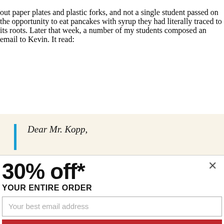out paper plates and plastic forks, and not a single student passed on the opportunity to eat pancakes with syrup they had literally traced to its roots. Later that week, a number of my students composed an email to Kevin. It read:
Dear Mr. Kopp,
[Figure (screenshot): Popup advertisement overlay showing '30% off* YOUR ENTIRE ORDER' with an email input field, a red 'GET MY 30% OFF COUPON' button, a close X button, and footnote text about the offer.]